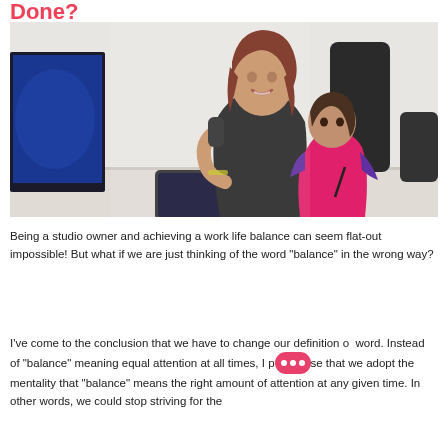Done?
[Figure (photo): A smiling woman with red-brown hair sits at an office desk talking on a landline phone while holding a young toddler girl in a pink dress on her lap. A computer monitor is visible on the left, and a keyboard and phone are on the desk.]
Being a studio owner and achieving a work life balance can seem flat-out impossible!  But what if we are just thinking of the word “balance” in the wrong way?
I’ve come to the conclusion that we have to change our definition of the word.  Instead of “balance” meaning equal attention at all times, I propose that we adopt the mentality that “balance” means the right amount of attention at any given time.  In other words, we could stop striving for the